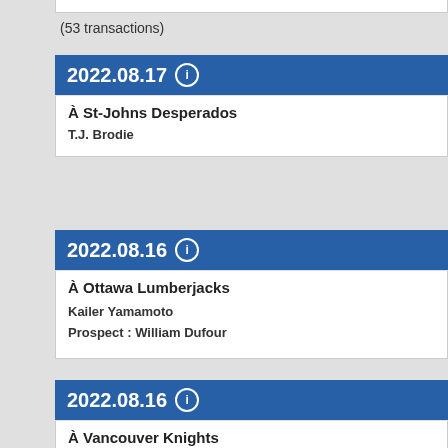(53 transactions)
2022.08.17
À St-Johns Desperados
T.J. Brodie
2022.08.16
À Ottawa Lumberjacks
Kailer Yamamoto
Prospect : William Dufour
2022.08.16
À Vancouver Knights
Joel Kiviranta
Prospect : Tanner Dickinson
2022.08.15